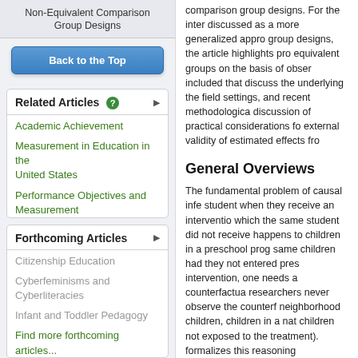Non-Equivalent Comparison Group Designs
Back to the Top
Related Articles
Academic Achievement
Measurement in Education in the United States
Performance Objectives and Measurement
Forthcoming Articles
Citizenship Education
Cyberfeminisms and Cyberliteracies
Infant and Toddler Pedagogy
Find more forthcoming articles...
comparison group designs. For the inter discussed as a more generalized appro group designs, the article highlights pro equivalent groups on the basis of obser included that discuss the underlying the field settings, and recent methodologica discussion of practical considerations fo external validity of estimated effects fro
General Overviews
The fundamental problem of causal infe student when they receive an interventio which the same student did not receive happens to children in a preschool prog same children had they not entered pres intervention, one needs a counterfactua researchers never observe the counterf neighborhood children, children in a nat children not exposed to the treatment). formalizes this reasoning mathematicall outcome based on its “assignment” to a framework, researchers are able to defi and inference population, as well as ass